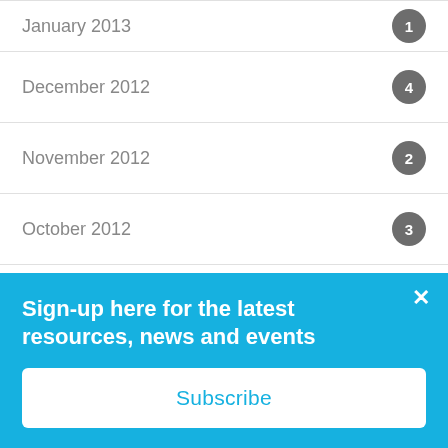January 2013 — 1
December 2012 — 4
November 2012 — 2
October 2012 — 3
September 2012 — 1
August 2012 — 1
July 2012 — 1
June 2012 — 1
Sign-up here for the latest resources, news and events
Subscribe